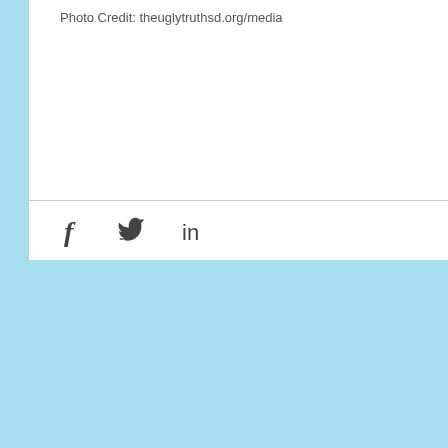Photo Credit: theuglytruthsd.org/media
[Figure (other): Social media share icons: Facebook (f), Twitter (bird), LinkedIn (in)]